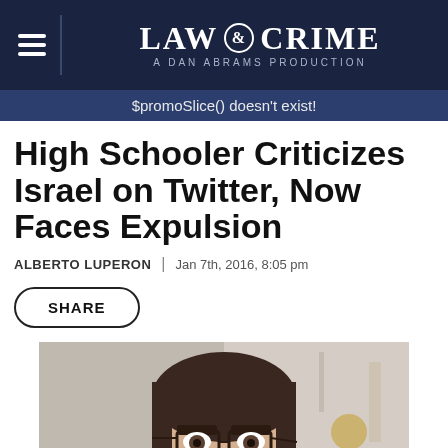LAW & CRIME — A DAN ABRAMS PRODUCTION
$promoSlice() doesn't exist!
High Schooler Criticizes Israel on Twitter, Now Faces Expulsion
ALBERTO LUPERON | Jan 7th, 2016, 8:05 pm
SHARE
[Figure (photo): Photo of a young person with dark hair, glasses, and a nose ring, taking a selfie indoors]